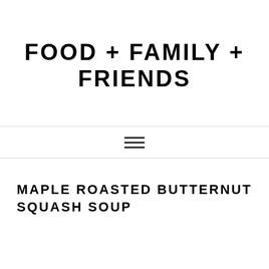FOOD + FAMILY + FRIENDS
[Figure (other): Hamburger menu icon with three horizontal lines]
MAPLE ROASTED BUTTERNUT SQUASH SOUP